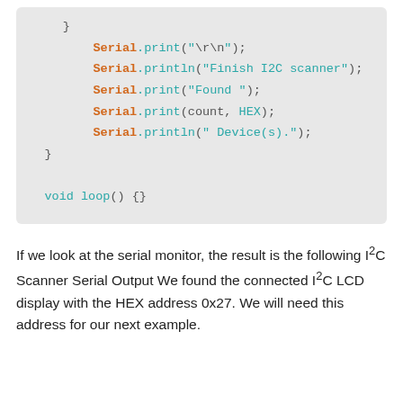[Figure (screenshot): Arduino code snippet showing end of loop with Serial print statements and void loop() {} function]
If we look at the serial monitor, the result is the following I²C Scanner Serial Output We found the connected I²C LCD display with the HEX address 0x27. We will need this address for our next example.